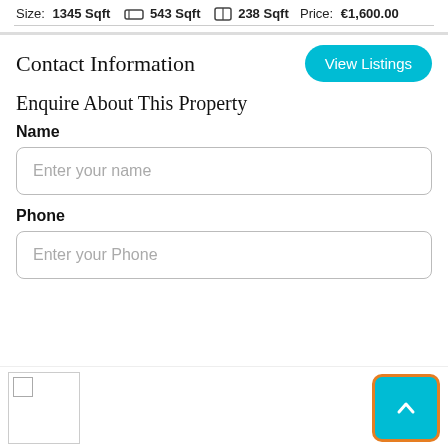Size: 1345 Sqft  🛏  543 Sqft  🪟  238 Sqft  Price: €1,600.00
Contact Information
View Listings
Enquire About This Property
Name
Enter your name
Phone
Enter your Phone